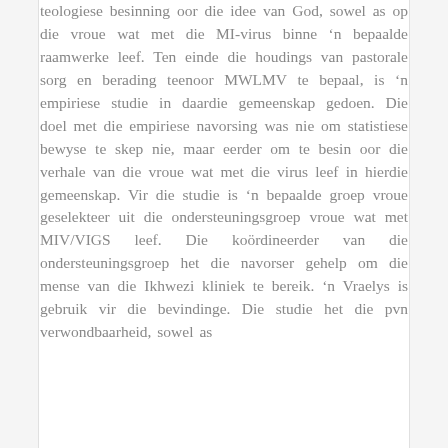teologiese besinning oor die idee van God, sowel as op die vroue wat met die MI-virus binne 'n bepaalde raamwerke leef. Ten einde die houdings van pastorale sorg en berading teenoor MWLMV te bepaal, is 'n empiriese studie in daardie gemeenskap gedoen. Die doel met die empiriese navorsing was nie om statistiese bewyse te skep nie, maar eerder om te besin oor die verhale van die vroue wat met die virus leef in hierdie gemeenskap. Vir die studie is 'n bepaalde groep vroue geselekteer uit die ondersteuningsgroep vroue wat met MIV/VIGS leef. Die koördineerder van die ondersteuningsgroep het die navorser gehelp om die mense van die Ikhwezi kliniek te bereik. 'n Vraelys is gebruik vir die bevindinge. Die studie het die pvn verwondbaarheid, sowel as